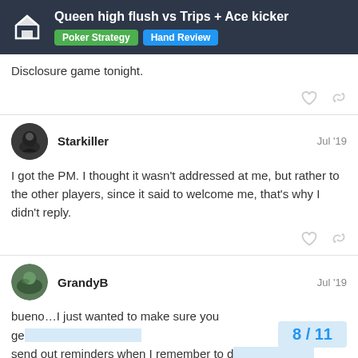Queen high flush vs Trips + Ace kicker | Poker Strategy | Hand Review
Disclosure game tonight.
Starkiller — Jul '19
I got the PM. I thought it wasn't addressed at me, but rather to the other players, since it said to welcome me, that's why I didn't reply.
GrandyB — Jul '19
bueno…I just wanted to make sure you ge send out reminders when I remember to d
8 / 11